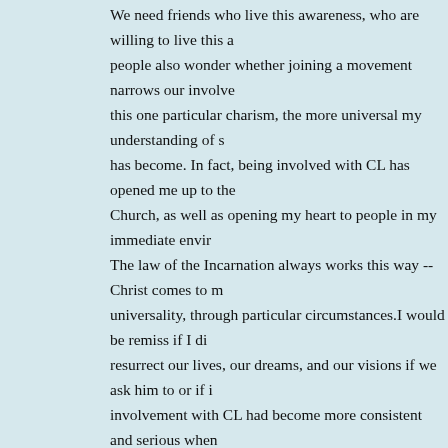We need friends who live this awareness, who are willing to live this a people also wonder whether joining a movement narrows our involve this one particular charism, the more universal my understanding of s has become. In fact, being involved with CL has opened me up to the Church, as well as opening my heart to people in my immediate envir The law of the Incarnation always works this way -- Christ comes to m universality, through particular circumstances.I would be remiss if I di resurrect our lives, our dreams, and our visions if we ask him to or if i involvement with CL had become more consistent and serious when wasn't until the first Lent retreat we had here in my new town, led by heart be fully engaged in CL. If we have a dream or vision and we los back if we ask Him in prayer. I pray for his work there, and that he ma beautiful friendship! She continued her life style and left her son with enjoyed life (she thought). January 26th, 2004 Fr Giussania€™s lette II, on the occasion of the twenty-fifth anniversary of his Pontificate. Panorama, October 30th, 2003 Fr Giussania€™s letter to the Fratern Loreto. One day, depressed of how her life was going, she drove pas whim. June 22nd, 2003 Fr Giussania€™s letter to the Fraternity for th Pontifical recognition of the Fraternity of Communion and Liberation. Giussania€™s testimony as presented at the Pontifical Council for th Ecclesiastical movements and the new communities in the pastoral ca 1989A The beginning and end of Christian morality I've been reading Way?